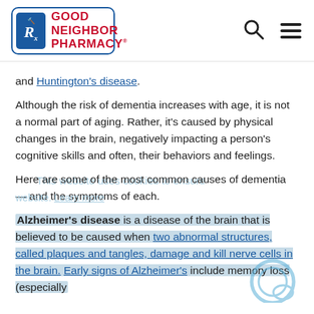Good Neighbor Pharmacy [logo with search and menu icons]
and Huntington's disease.
Although the risk of dementia increases with age, it is not a normal part of aging. Rather, it's caused by physical changes in the brain, negatively impacting a person's cognitive skills and often, their behaviors and feelings.
Here are some of the most common causes of dementia — and the symptoms of each.
Alzheimer's disease is a disease of the brain that is believed to be caused when two abnormal structures, called plaques and tangles, damage and kill nerve cells in the brain. Early signs of Alzheimer's include memory loss (especially